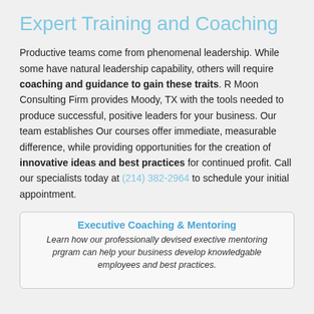Expert Training and Coaching
Productive teams come from phenomenal leadership. While some have natural leadership capability, others will require coaching and guidance to gain these traits. R Moon Consulting Firm provides Moody, TX with the tools needed to produce successful, positive leaders for your business. Our team establishes Our courses offer immediate, measurable difference, while providing opportunities for the creation of innovative ideas and best practices for continued profit. Call our specialists today at (214) 382-2964 to schedule your initial appointment.
Executive Coaching & Mentoring
Learn how our professionally devised exective mentoring prgram can help your business develop knowledgable employees and best practices.